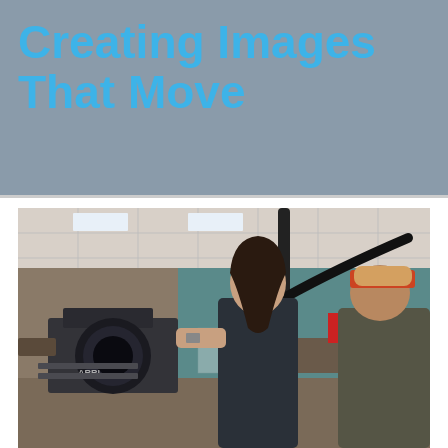Creating Images That Move
[Figure (photo): Two students examining a professional cinema camera (ARRI) on a film set inside what appears to be a school studio or lab with teal walls, ceiling-mounted equipment arm, and various equipment visible in background. A young woman with dark hair is holding/adjusting the camera while a young man in a cap looks on.]